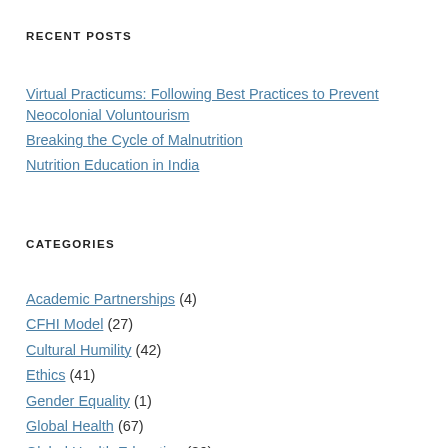RECENT POSTS
Virtual Practicums: Following Best Practices to Prevent Neocolonial Voluntourism
Breaking the Cycle of Malnutrition
Nutrition Education in India
CATEGORIES
Academic Partnerships (4)
CFHI Model (27)
Cultural Humility (42)
Ethics (41)
Gender Equality (1)
Global Health (67)
Global Health Education (86)
Global Health Electives (7)